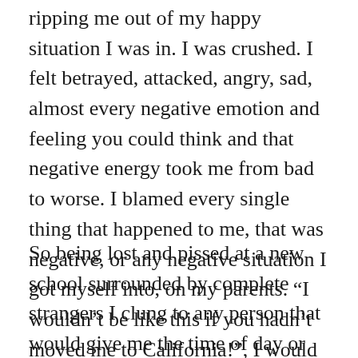ripping me out of my happy situation I was in. I was crushed. I felt betrayed, attacked, angry, sad, almost every negative emotion and feeling you could think and that negative energy took me from bad to worse. I blamed every single thing that happened to me, that was negative, or any negative situation I got myself into, on my parents. “I wouldn’t be like this if you hadn’t moved me to California!”, I would say.
So being lost and pissed at a new school surrounded by complete strangers I clung to any person that would give me the time of day or say whats up to me, I sat there just going over and over in my head how